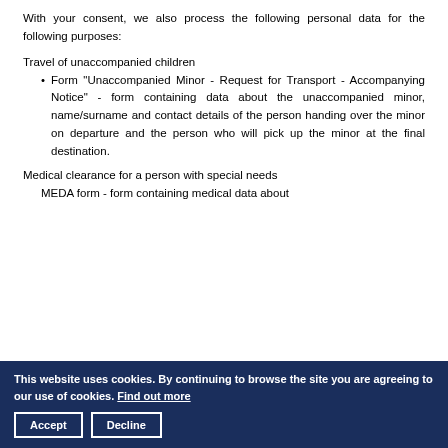With your consent, we also process the following personal data for the following purposes:
Travel of unaccompanied children
Form "Unaccompanied Minor - Request for Transport - Accompanying Notice" - form containing data about the unaccompanied minor, name/surname and contact details of the person handing over the minor on departure and the person who will pick up the minor at the final destination.
Medical clearance for a person with special needs
MEDA form - form containing medical data about...
This website uses cookies. By continuing to browse the site you are agreeing to our use of cookies. Find out more